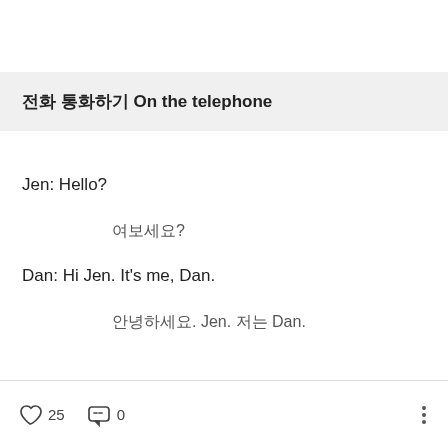전화 통화하기 On the telephone
Jen: Hello?
여보세요?
Dan: Hi Jen. It's me, Dan.
안녕하세요. Jen. 저는 Dan.
25 likes, 0 comments